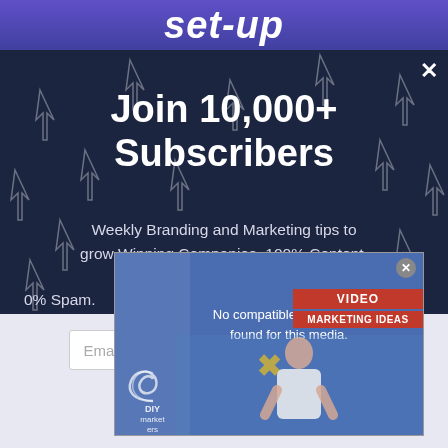[Figure (screenshot): Dark blue background with white arrow/cursor icons scattered across it, forming a pattern. A purple banner at the top shows partial text 'set-up'. A modal popup overlays the background with the heading 'Join 10,000+ Subscribers' and subtitle text about branding and marketing tips. A secondary video popup appears in the lower portion showing 'No compatible source was found for this media.' with a DIY Marketers branding and VIDEO MARKETING IDEAS label. A lavender/light area at the bottom shows a partial email input field and an X mark.]